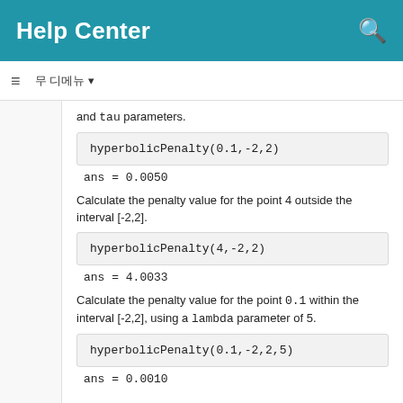Help Center
and tau parameters.
hyperbolicPenalty(0.1,-2,2)
ans = 0.0050
Calculate the penalty value for the point 4 outside the interval [-2,2].
hyperbolicPenalty(4,-2,2)
ans = 4.0033
Calculate the penalty value for the point 0.1 within the interval [-2,2], using a lambda parameter of 5.
hyperbolicPenalty(0.1,-2,2,5)
ans = 0.0010